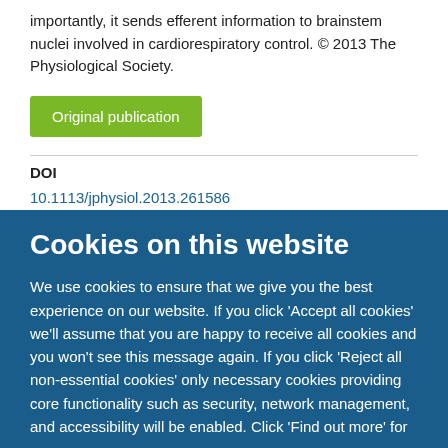importantly, it sends efferent information to brainstem nuclei involved in cardiorespiratory control. © 2013 The Physiological Society.
Original publication
DOI
10.1113/jphysiol.2013.261586
Cookies on this website
We use cookies to ensure that we give you the best experience on our website. If you click 'Accept all cookies' we'll assume that you are happy to receive all cookies and you won't see this message again. If you click 'Reject all non-essential cookies' only necessary cookies providing core functionality such as security, network management, and accessibility will be enabled. Click 'Find out more' for